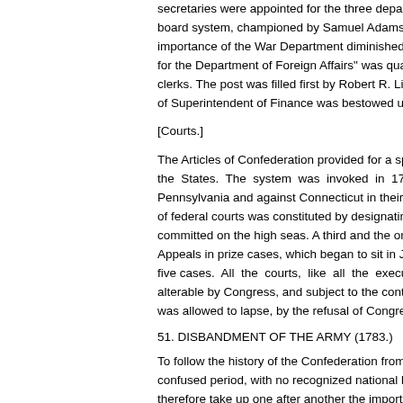secretaries were appointed for the three departments of board system, championed by Samuel Adams and importance of the War Department diminished after 178 for the Department of Foreign Affairs" was quartered in clerks. The post was filled first by Robert R. Livingston, of Superintendent of Finance was bestowed upon Rober
[Courts.]
The Articles of Confederation provided for a special tribu the States. The system was invoked in 1782, and Pennsylvania and against Connecticut in their rival clain of federal courts was constituted by designating certain committed on the high seas. A third and the only impo Appeals in prize cases, which began to sit in January, 1 five cases. All the courts, like all the executive dep alterable by Congress, and subject to the control of C was allowed to lapse, by the refusal of Congress to pay t
51. DISBANDMENT OF THE ARMY (1783.)
To follow the history of the Confederation from year to confused period, with no recognized national leaders, therefore take up one after another the important questi end of the Confederation.
[Half-pay question.] [Protests.]